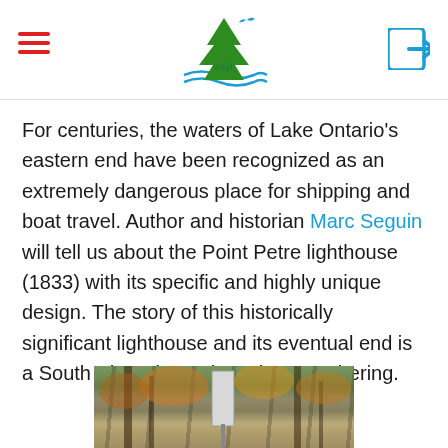SSJL logo header with hamburger menu and login icon
For centuries, the waters of Lake Ontario’s eastern end have been recognized as an extremely dangerous place for shipping and boat travel. Author and historian Marc Seguin will tell us about the Point Petre lighthouse (1833) with its specific and highly unique design. The story of this historically significant lighthouse and its eventual end is a South Shore legend worth remembering.
[Figure (photo): Photograph of trees with autumn foliage and a signpost visible among the branches, partially cropped at bottom of page]